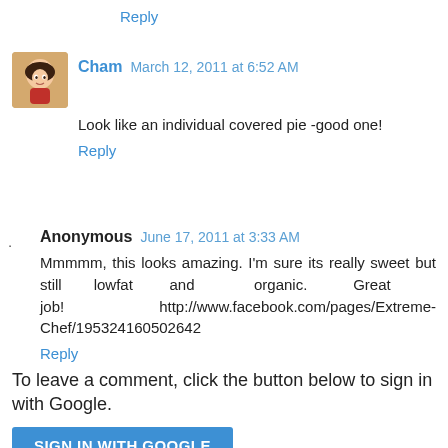Reply
Cham  March 12, 2011 at 6:52 AM
Look like an individual covered pie -good one!
Reply
Anonymous  June 17, 2011 at 3:33 AM
Mmmmm, this looks amazing. I'm sure its really sweet but still lowfat and organic. Great job! http://www.facebook.com/pages/Extreme-Chef/195324160502642
Reply
To leave a comment, click the button below to sign in with Google.
SIGN IN WITH GOOGLE